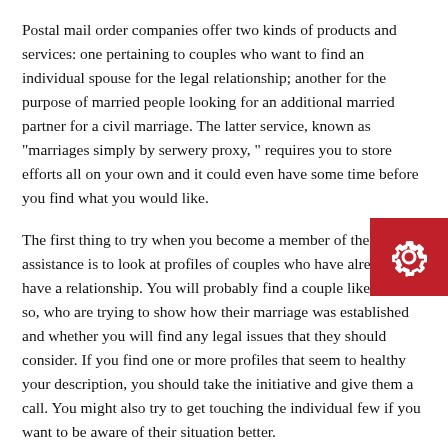Postal mail order companies offer two kinds of products and services: one pertaining to couples who want to find an individual spouse for the legal relationship; another for the purpose of married people looking for an additional married partner for a civil marriage. The latter service, known as "marriages simply by serwery proxy, " requires you to store efforts all on your own and it could even have some time before you find what you would like.
The first thing to try when you become a member of the assistance is to look at profiles of couples who have already have a relationship. You will probably find a couple like yours so, who are trying to show how their marriage was established and whether you will find any legal issues that they should consider. If you find one or more profiles that seem to healthy your description, you should take the initiative and give them a call. You might also try to get touching the individual few if you want to be aware of their situation better.
To be able to use the company you must also sign up for a mailing address. The site will provide you with this information for free. Then, when you obtain a mail realize from the site you have to frontward all